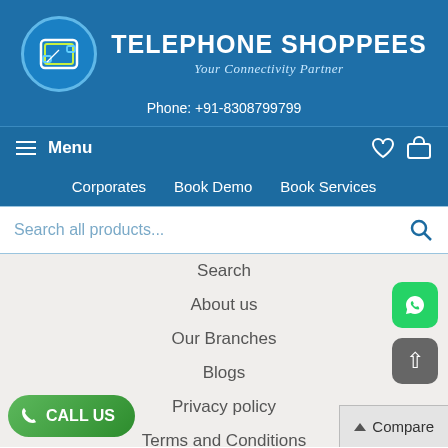[Figure (logo): Telephone Shoppees logo: circular icon with stylized phone/screen graphic in blue circle, with brand name and tagline]
TELEPHONE SHOPPEES
Your Connectivity Partner
Phone: +91-8308799799
Menu
Corporates   Book Demo   Book Services
Search all products...
Search
About us
Our Branches
Blogs
Privacy policy
Terms and Conditions
Corporate
Contact Us
CALL US
▲ Compare